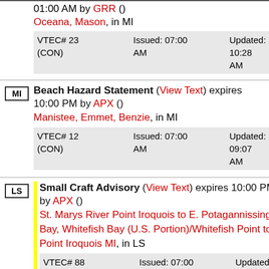01:00 AM by GRR () Oceana, Mason, in MI VTEC# 23 (CON) Issued: 07:00 AM Updated: 10:28 AM
MI Beach Hazard Statement (View Text) expires 10:00 PM by APX () Manistee, Emmet, Benzie, in MI VTEC# 12 (CON) Issued: 07:00 AM Updated: 09:07 AM
LS Small Craft Advisory (View Text) expires 10:00 PM by APX () St. Marys River Point Iroquois to E. Potagannissing Bay, Whitefish Bay (U.S. Portion)/Whitefish Point to Point Iroquois MI, in LS VTEC# 88 (CON) Issued: 07:00 AM Updated: 09:03 AM